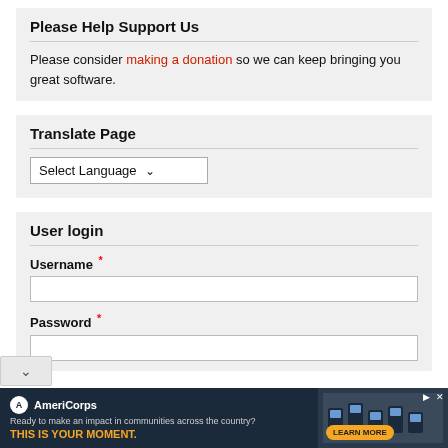Please Help Support Us
Please consider making a donation so we can keep bringing you great software.
Translate Page
Select Language
User login
Username *
Password *
[Figure (screenshot): AmeriCorps advertisement banner: dark navy background with AmeriCorps logo, text 'Ready to make an impact in communities across the country? THIS IS YOUR MOMENT.' with a Learn More button and photo of people at computers on the right.]